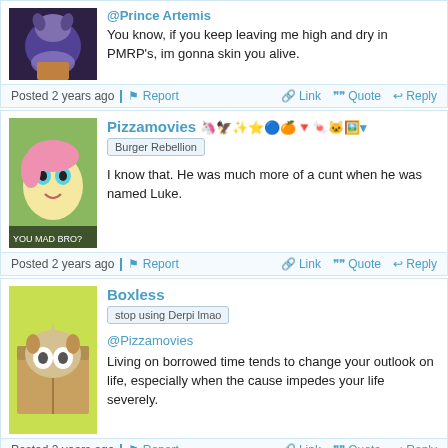@Prince Artemis
You know, if you keep leaving me high and dry in PMRP's, im gonna skin you alive.
Posted 2 years ago   Report   Link   Quote   Reply
Pizzamovies
Burger Rebellion
I know that. He was much more of a cunt when he was named Luke.
Posted 2 years ago   Report   Link   Quote   Reply
Boxless
stop using Derpi lmao
@Pizzamovies
Living on borrowed time tends to change your outlook on life, especially when the cause impedes your life severely.
Posted 2 years ago   Report   Link   Quote   Reply